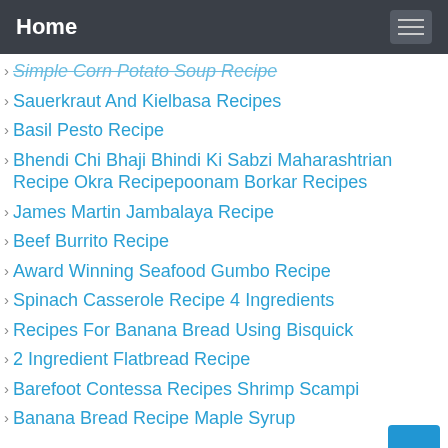Home
Simple Corn Potato Soup Recipe
Sauerkraut And Kielbasa Recipes
Basil Pesto Recipe
Bhendi Chi Bhaji Bhindi Ki Sabzi Maharashtrian Recipe Okra Recipepoonam Borkar Recipes
James Martin Jambalaya Recipe
Beef Burrito Recipe
Award Winning Seafood Gumbo Recipe
Spinach Casserole Recipe 4 Ingredients
Recipes For Banana Bread Using Bisquick
2 Ingredient Flatbread Recipe
Barefoot Contessa Recipes Shrimp Scampi
Banana Bread Recipe Maple Syrup